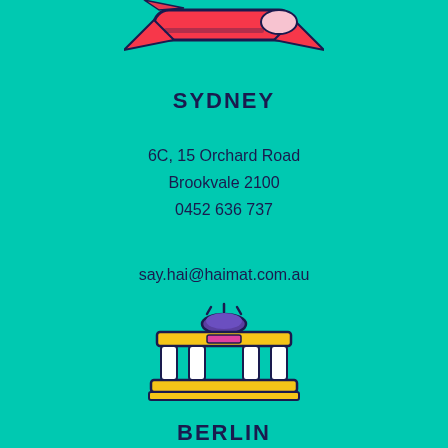[Figure (illustration): Partial top of a colorful city icon (airplane/transport), cropped at top]
SYDNEY
6C, 15 Orchard Road
Brookvale 2100
0452 636 737
say.hai@haimat.com.au
[Figure (illustration): Colorful icon of a classical gateway/torii structure with columns, in yellow, pink, white and dark blue outline]
BERLIN